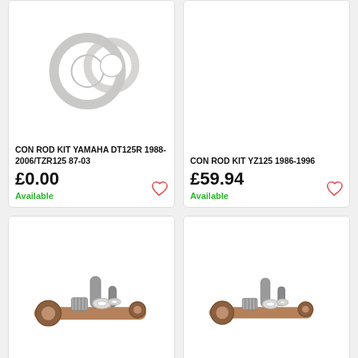[Figure (photo): Con rod kit with washers/rings on white background (top-left product card)]
CON ROD KIT YAMAHA DT125R 1988-2006/TZR125 87-03
£0.00
Available
[Figure (photo): Con rod kit product image on white background (top-right product card, mostly empty/white)]
CON ROD KIT YZ125 1986-1996
£59.94
Available
[Figure (photo): Connecting rod kit components including rod, pins, bearing, and washers on white background (bottom-left card)]
[Figure (photo): Connecting rod kit components including rod, pins, bearing, and washers on white background (bottom-right card)]